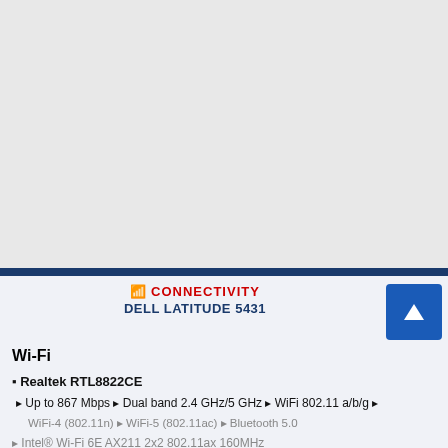CONNECTIVITY
DELL LATITUDE 5431
Wi-Fi
Realtek RTL8822CE
Up to 867 Mbps ▸ Dual band 2.4 GHz/5 GHz ▸ WiFi 802.11 a/b/g ▸
WiFi-4 (802.11n) ▸ WiFi-5 (802.11ac) ▸ Bluetooth 5.0
Intel® Wi-Fi 6E AX211 2x2 802.11ax 160MHz